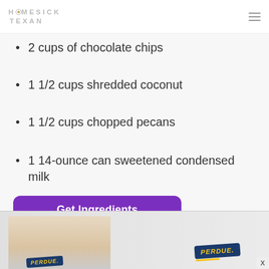HOMESICK TEXAN
2 cups of chocolate chips
1 1/2 cups shredded coconut
1 1/2 cups chopped pecans
1 14-ounce can sweetened condensed milk
[Figure (screenshot): Purple 'Get Ingredients' button powered by Chicory]
[Figure (photo): Perdue advertisement banner showing food products and Perdue logo]